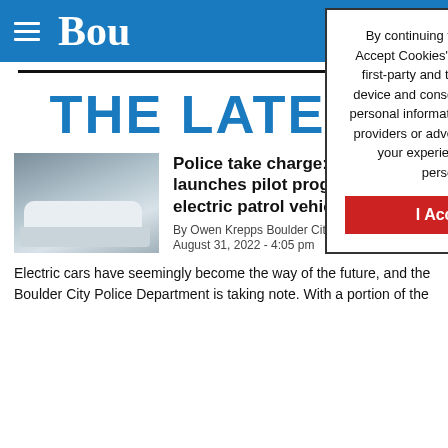Bou[lder City Review]
By continuing to browse or by clicking “I Accept Cookies” you agree to the storing of first-party and third-party cookies on your device and consent to the disclosure of your personal information to our third party service providers or advertising partners to optimize your experience, analyze traffic and personalize content.
I Accept Cookies
THE LATEST
[Figure (photo): White Tesla police car with blue markings parked in a garage]
Police take charge: Department launches pilot program for electric patrol vehicles
By Owen Krepps Boulder City Review
August 31, 2022 - 4:05 pm
Electric cars have seemingly become the way of the future, and the Boulder City Police Department is taking note. With a portion of the